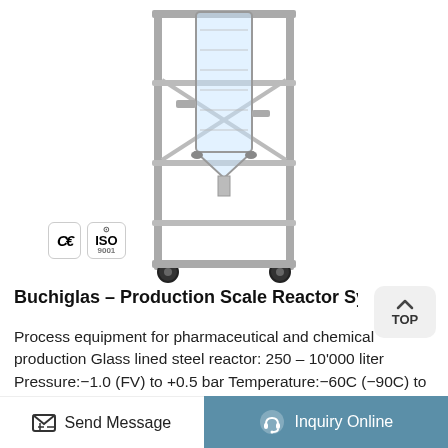[Figure (photo): Buchiglas production scale reactor system on a stainless steel wheeled frame stand, tall cylindrical glass reactor vessel visible at top]
[Figure (logo): CE certification mark badge]
[Figure (logo): ISO certification mark badge]
Buchiglas – Production Scale Reactor Syst
Process equipment for pharmaceutical and chemical production Glass lined steel reactor: 250 – 10'000 liter Pressure:−1.0 (FV) to +0.5 bar Temperature:−60C (−90C) to +200C Material: Borosilicate glass 3.3 / glass lined steel / PTFE / PFA / Tantalum Chemical process equipment